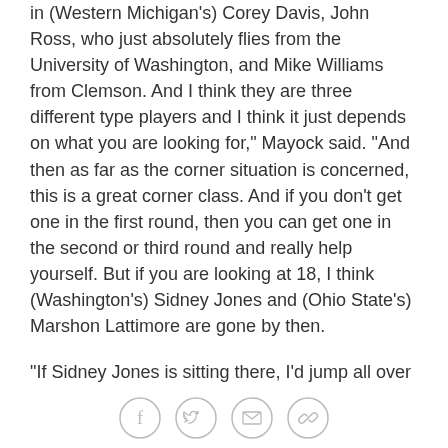in (Western Michigan's) Corey Davis, John Ross, who just absolutely flies from the University of Washington, and Mike Williams from Clemson. And I think they are three different type players and I think it just depends on what you are looking for," Mayock said. "And then as far as the corner situation is concerned, this is a great corner class. And if you don't get one in the first round, then you can get one in the second or third round and really help yourself. But if you are looking at 18, I think (Washington's) Sidney Jones and (Ohio State's) Marshon Lattimore are gone by then.
"If Sidney Jones is sitting there, I'd jump all over him. ... But I think you are starting to look at Marlon Humphrey from Alabama, how fast does Teez Tabor run from Florida? Quincy Wilson from Florida. (USC's) Adoree' Jackson I think is more of a second-round guy, but his
[Figure (other): Social sharing icons: Facebook, Twitter, Email, Link/chain]